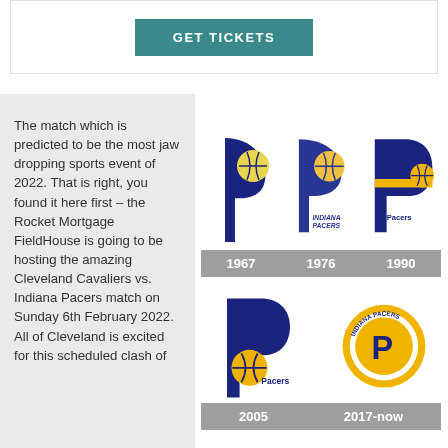GET TICKETS
The match which is predicted to be the most jaw dropping sports event of 2022. That is right, you found it here first – the Rocket Mortgage FieldHouse is going to be hosting the amazing Cleveland Cavaliers vs. Indiana Pacers match on Sunday 6th February 2022. All of Cleveland is excited for this scheduled clash of
[Figure (illustration): Indiana Pacers logo evolution showing five versions: 1967, 1976, 1990, 2005, and 2017-now logos arranged in a grid with gray year labels beneath each.]